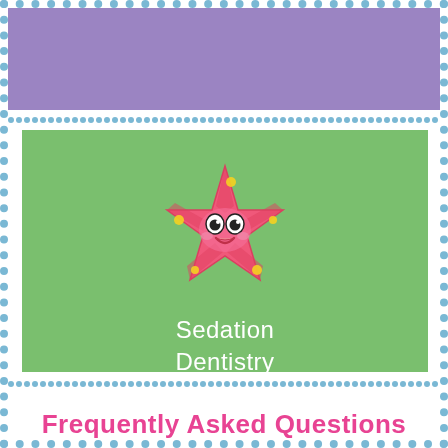[Figure (illustration): Purple banner at top of page inside dotted border]
[Figure (illustration): Green box with cartoon pink starfish mascot and text 'Sedation Dentistry' in white]
Frequently Asked Questions